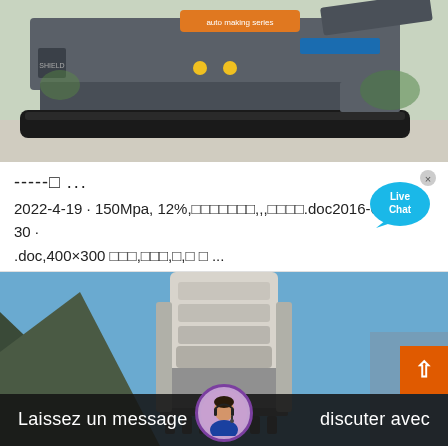[Figure (photo): Mobile crushing/screening machine on tracked undercarriage, outdoors on concrete, with orange label on top]
-----□ ...
2022-4-19 · 150Mpa, 12%,□□□□□□□,,,□□□□.doc2016-6-30 · .doc,400×300 □□□,□□□,□,□ □ ...
[Figure (photo): Industrial crushing machine / drill tower against blue sky and mountain background]
Laissez un message   discuter avec